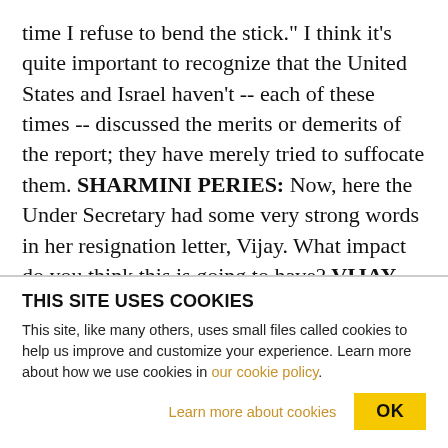time I refuse to bend the stick." I think it's quite important to recognize that the United States and Israel haven't -- each of these times -- discussed the merits or demerits of the report; they have merely tried to suffocate them. SHARMINI PERIES: Now, here the Under Secretary had some very strong words in her resignation letter, Vijay. What impact do you think this is going to have? VIJAY PRASHAD: Well, it depends where we're talking about. In the Arab world, she has undoubtedly emerged as a hero. And she has emerged as a hero, I think, for good
THIS SITE USES COOKIES
This site, like many others, uses small files called cookies to help us improve and customize your experience. Learn more about how we use cookies in our cookie policy.
Learn more about cookies   OK